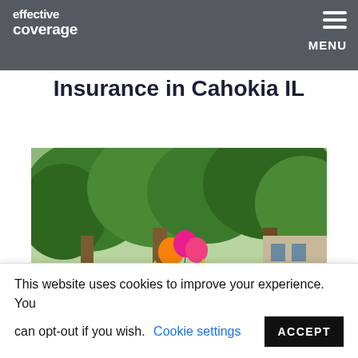effective coverage
Cottonwood Park Renters Insurance in Cahokia IL
[Figure (photo): Exterior photo of Cottonwood Park Apartments sign with green trees and colorful balloons, Cahokia IL]
Cottonwood Park Cahokia
This website uses cookies to improve your experience. You can opt-out if you wish. Cookie settings ACCEPT